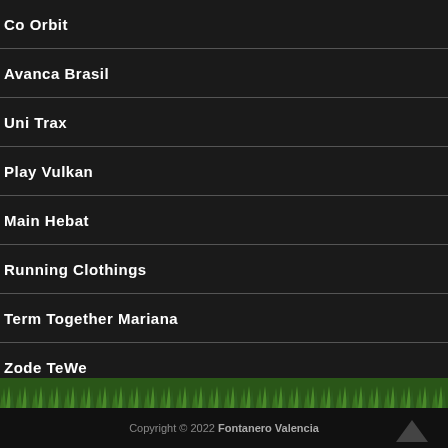Co Orbit
Avanca Brasil
Uni Trax
Play Vulkan
Main Hebat
Running Clothings
Term Together Mariana
Zode TeWe
[Figure (photo): Green grass texture strip]
Copyright © 2022 Fontanero Valencia